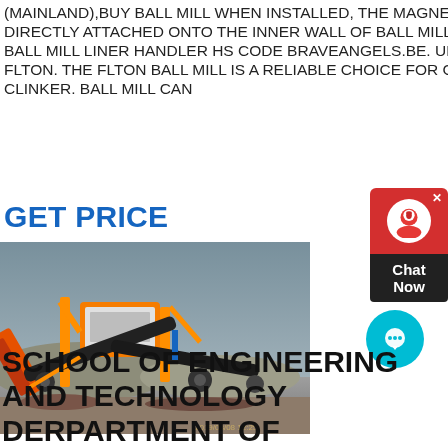(MAINLAND),BUY BALL MILL WHEN INSTALLED, THE MAGNETIC LINERS ARE DIRECTLY ATTACHED ONTO THE INNER WALL OF BALL MILL WITH NO BOLTS. BALL MILL LINER HANDLER HS CODE BRAVEANGELS.BE. UMS UNIDAN BALL MILL FLTON. THE FLTON BALL MILL IS A RELIABLE CHOICE FOR GRINDING CEMENT CLINKER. BALL MILL CAN
GET PRICE
[Figure (photo): Photograph of large yellow mining/crushing equipment machinery on a gravel site with cloudy sky background.]
[Figure (other): Chat widget with red speech bubble icon and 'Chat Now' label in dark box]
[Figure (other): Floating cyan circle chat button with ellipsis speech bubble icon]
SCHOOL OF ENGINEERING AND TECHNOLOGY DERPARTMENT OF